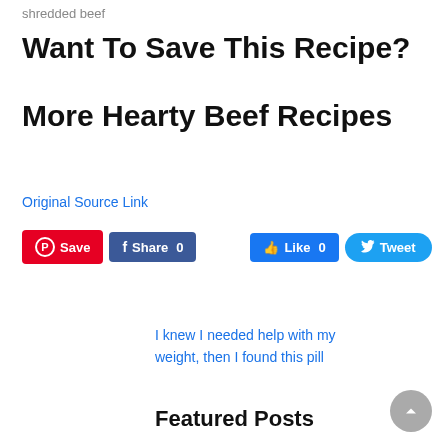shredded beef
Want To Save This Recipe?
More Hearty Beef Recipes
Original Source Link
[Figure (other): Social sharing buttons: Pinterest Save, Facebook Share 0, Facebook Like 0, Twitter Tweet]
I knew I needed help with my weight, then I found this pill
Featured Posts